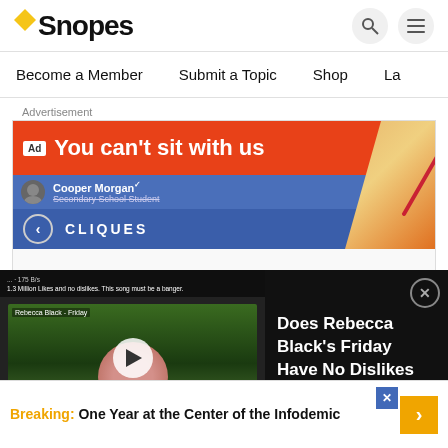Snopes
Become a Member   Submit a Topic   Shop   La
Advertisement
[Figure (screenshot): Advertisement banner showing 'You can't sit with us' with Cliques game ad on red background, with Facebook-style profile bar]
[Figure (screenshot): Video overlay panel: Left side shows video thumbnail of Rebecca Black Friday YouTube video with play button. Right side dark panel with text 'Does Rebecca Black's Friday Have No Dislikes on YouTube?' with close button]
[Figure (screenshot): Bottom advertisement bar: 'Breaking: One Year at the Center of the Infodemic' with yellow arrow button and blue X close button]